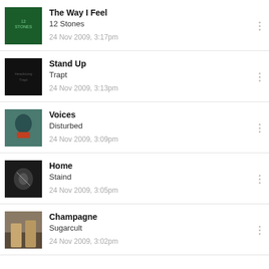The Way I Feel
12 Stones
24 Nov 2009, 3:17pm
Stand Up
Trapt
24 Nov 2009, 3:13pm
Voices
Disturbed
24 Nov 2009, 3:09pm
Home
Staind
24 Nov 2009, 3:05pm
Champagne
Sugarcult
24 Nov 2009, 3:02pm